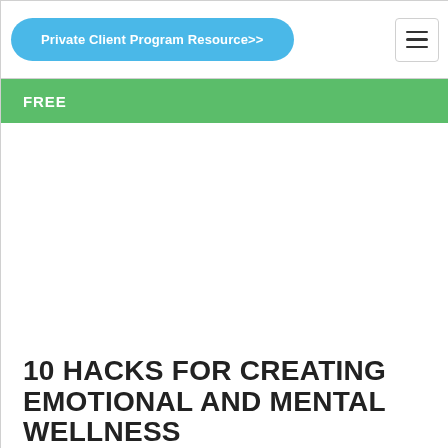Private Client Program Resource>>
FREE
10 HACKS FOR CREATING EMOTIONAL AND MENTAL WELLNESS